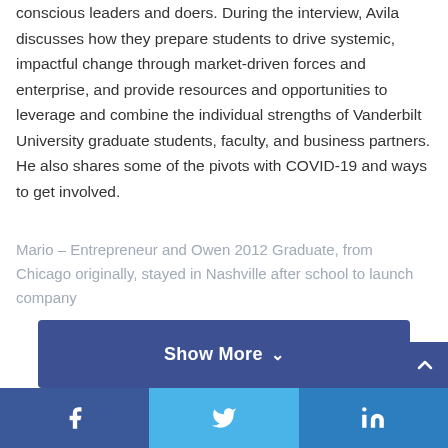conscious leaders and doers. During the interview, Avila discusses how they prepare students to drive systemic, impactful change through market-driven forces and enterprise, and provide resources and opportunities to leverage and combine the individual strengths of Vanderbilt University graduate students, faculty, and business partners. He also shares some of the pivots with COVID-19 and ways to get involved.
Mario – Entrepreneur and Owen 2012 Graduate, from Chicago originally, stayed in Nashville after school to launch company
Show More
Facebook  Twitter  LinkedIn